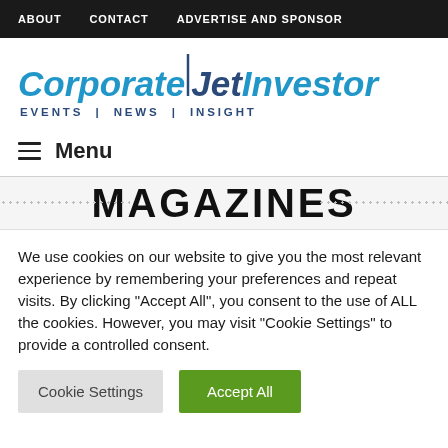ABOUT | CONTACT | ADVERTISE AND SPONSOR
[Figure (logo): CorporateJetInvestor logo with tagline EVENTS | NEWS | INSIGHT]
≡ Menu
MAGAZINES
We use cookies on our website to give you the most relevant experience by remembering your preferences and repeat visits. By clicking "Accept All", you consent to the use of ALL the cookies. However, you may visit "Cookie Settings" to provide a controlled consent.
Cookie Settings | Accept All